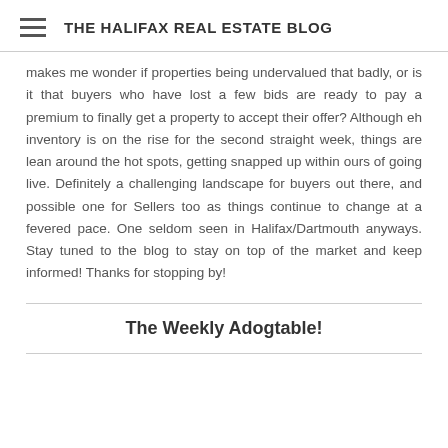THE HALIFAX REAL ESTATE BLOG
makes me wonder if properties being undervalued that badly, or is it that buyers who have lost a few bids are ready to pay a premium to finally get a property to accept their offer? Although eh inventory is on the rise for the second straight week, things are lean around the hot spots, getting snapped up within ours of going live. Definitely a challenging landscape for buyers out there, and possible one for Sellers too as things continue to change at a fevered pace. One seldom seen in Halifax/Dartmouth anyways. Stay tuned to the blog to stay on top of the market and keep informed! Thanks for stopping by!
The Weekly Adogtable!